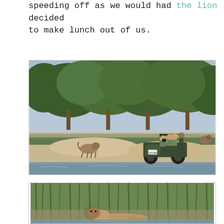speeding off as we would had the lion decided to make lunch out of us.
[Figure (photo): A safari jeep with tourists on a sandy riverbank or dry river bed, observed by a hyena on the left. Green trees and bush in the background.]
[Figure (photo): Close-up ground-level view of an animal (possibly a lion or hyena) near water, with green reeds/grass in the background.]